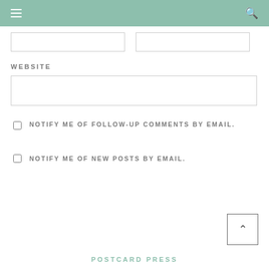Navigation bar with menu and search icons
WEBSITE
NOTIFY ME OF FOLLOW-UP COMMENTS BY EMAIL.
NOTIFY ME OF NEW POSTS BY EMAIL.
Post Comment
POSTCARD PRESS